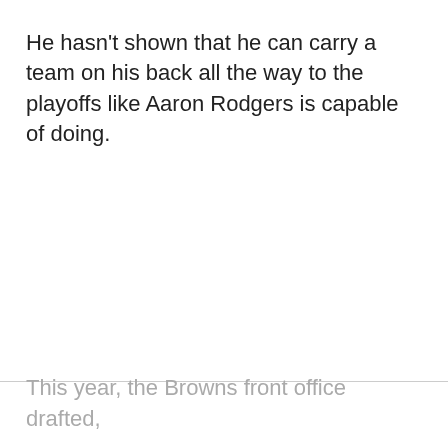He hasn't shown that he can carry a team on his back all the way to the playoffs like Aaron Rodgers is capable of doing.
This year, the Browns front office drafted,